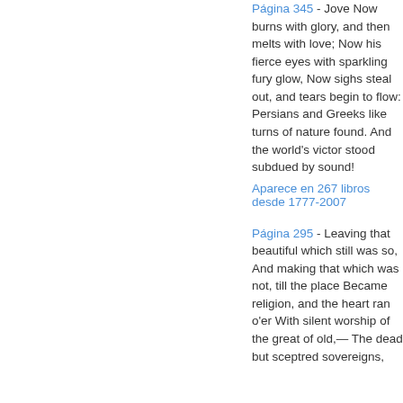Página 345 - Jove Now burns with glory, and then melts with love; Now his fierce eyes with sparkling fury glow, Now sighs steal out, and tears begin to flow: Persians and Greeks like turns of nature found. And the world's victor stood subdued by sound! Aparece en 267 libros desde 1777-2007
Página 295 - Leaving that beautiful which still was so, And making that which was not, till the place Became religion, and the heart ran o'er With silent worship of the great of old,— The dead but sceptred sovereigns,